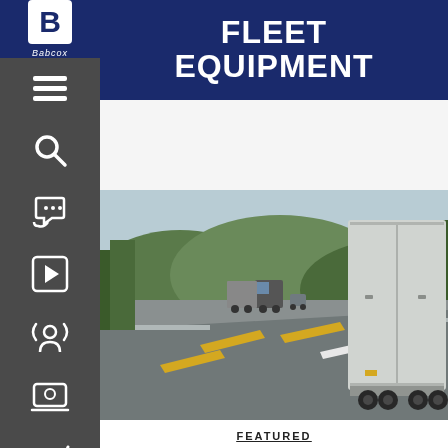[Figure (logo): Babcox media B logo in white box on dark blue sidebar top]
FLEET
EQUIPMENT
[Figure (photo): Highway scene with semi trucks and trailers driving on a multi-lane freeway surrounded by trees and mountains]
FEATURED
What trailer tracking technology can do for you